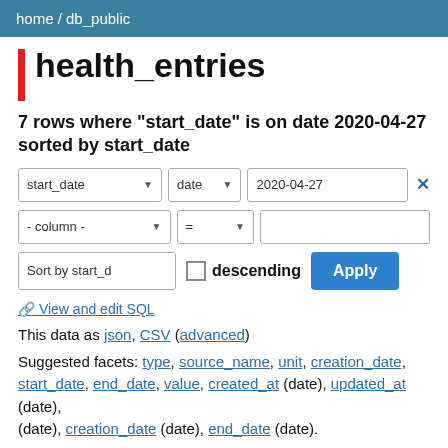home / db_public
health_entries
7 rows where "start_date" is on date 2020-04-27 sorted by start_date
Filter UI: start_date | date | 2020-04-27 [x]; - column - | = | [empty]; Sort by start_d | descending checkbox | Apply button
🔗 View and edit SQL
This data as json, CSV (advanced)
Suggested facets: type, source_name, unit, creation_date, start_date, end_date, value, created_at (date), updated_at (date), creation_date (date), end_date (date).